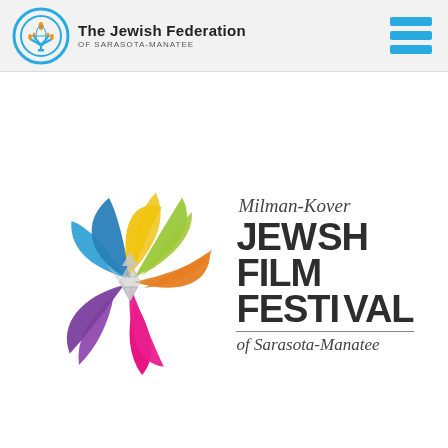[Figure (logo): The Jewish Federation of Sarasota-Manatee logo with menorah/torch symbol in blue circle and organization name]
[Figure (logo): Hamburger menu icon with three blue horizontal bars]
[Figure (logo): Milman-Kover Jewish Film Festival of Sarasota-Manatee logo with six colorful triangular petals arranged in a flower/Star of David pattern with a gray Star of David in center]